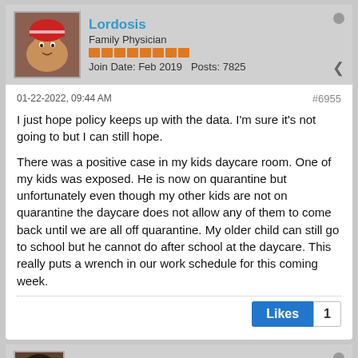[Figure (photo): Avatar/profile picture of forum user Lordosis - cartoon/game character with red and white headwear]
Lordosis
Family Physician
Join Date: Feb 2019   Posts: 7825
01-22-2022, 09:44 AM
#6955
I just hope policy keeps up with the data. I'm sure it's not going to but I can still hope.

There was a positive case in my kids daycare room. One of my kids was exposed. He is now on quarantine but unfortunately even though my other kids are not on quarantine the daycare does not allow any of them to come back until we are all off quarantine. My older child can still go to school but he cannot do after school at the daycare. This really puts a wrench in our work schedule for this coming week.
Likes 1
[Figure (photo): Avatar/profile picture of forum user CordMcNally - appears to be a medieval/historical figure]
CordMcNally
Moderator